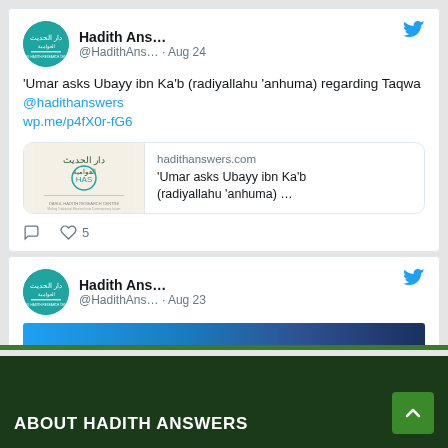[Figure (screenshot): Twitter/social media feed screenshot showing two tweets from 'Hadith Ans...' account. First tweet: '@HadithAns... · Aug 24' with text "'Umar asks Ubayy ibn Ka'b (radiyallahu 'anhuma) regarding Taqwa @hadithanswers wp.me/p4fX0r-fG6" and a link preview card for hadithanswers.com. Second tweet: '@HadithAns... · Aug 23' partially visible. Footer with 'ABOUT HADITH ANSWERS' text on dark green background.]